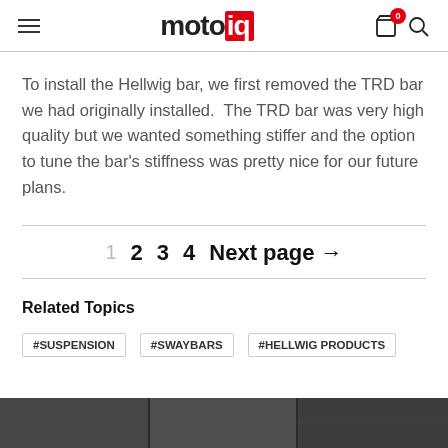motoiq
To install the Hellwig bar, we first removed the TRD bar we had originally installed.  The TRD bar was very high quality but we wanted something stiffer and the option to tune the bar's stiffness was pretty nice for our future plans.
1  2  3  4  Next page →
Related Topics
#SUSPENSION   #SWAYBARS   #HELLWIG PRODUCTS
[Figure (photo): Dark photographic image strip at the bottom of the page]